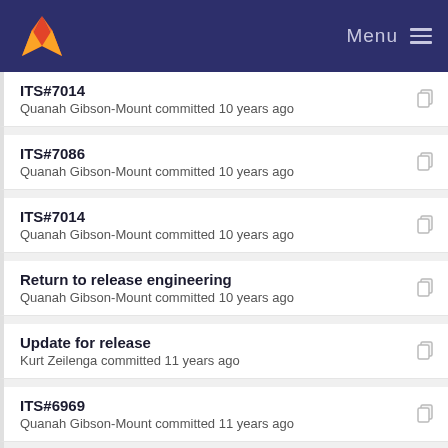Menu
ITS#7014
Quanah Gibson-Mount committed 10 years ago
ITS#7086
Quanah Gibson-Mount committed 10 years ago
ITS#7014
Quanah Gibson-Mount committed 10 years ago
Return to release engineering
Quanah Gibson-Mount committed 10 years ago
Update for release
Kurt Zeilenga committed 11 years ago
ITS#6969
Quanah Gibson-Mount committed 11 years ago
ITS#6862
Quanah Gibson-Mount committed 11 years ago
ITS#6929